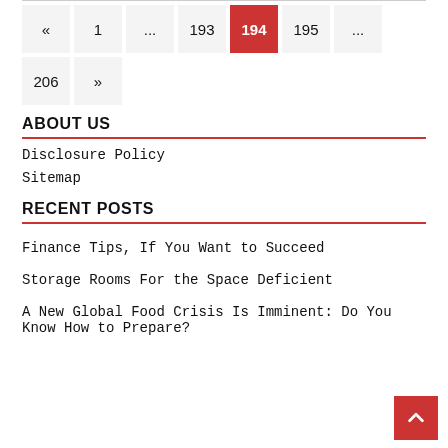Pagination: « 1 ... 193 194 195 ... 206 »
ABOUT US
Disclosure Policy
Sitemap
RECENT POSTS
Finance Tips, If You Want to Succeed
Storage Rooms For the Space Deficient
A New Global Food Crisis Is Imminent: Do You Know How to Prepare?